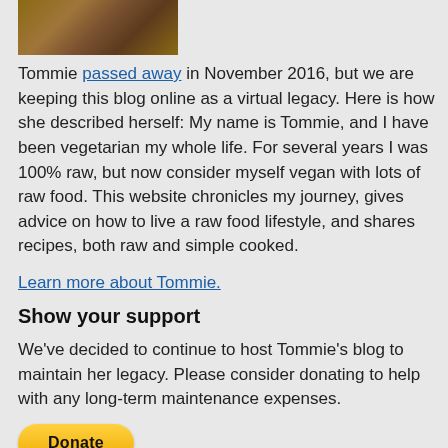[Figure (photo): Partial photo of a person or animal, cropped at top of page]
Tommie passed away in November 2016, but we are keeping this blog online as a virtual legacy. Here is how she described herself: My name is Tommie, and I have been vegetarian my whole life. For several years I was 100% raw, but now consider myself vegan with lots of raw food. This website chronicles my journey, gives advice on how to live a raw food lifestyle, and shares recipes, both raw and simple cooked.
Learn more about Tommie.
Show your support
We've decided to continue to host Tommie's blog to maintain her legacy. Please consider donating to help with any long-term maintenance expenses.
[Figure (other): PayPal Donate button, yellow rounded rectangle]
Tags
almonds Boca Burgers bokashi booties carrageenan down booties exercise feature Hachiya health health issues Hichaya irish moss